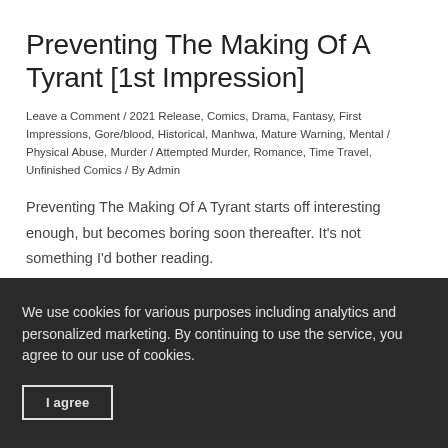Preventing The Making Of A Tyrant [1st Impression]
Leave a Comment / 2021 Release, Comics, Drama, Fantasy, First Impressions, Gore/blood, Historical, Manhwa, Mature Warning, Mental / Physical Abuse, Murder / Attempted Murder, Romance, Time Travel, Unfinished Comics / By Admin
Preventing The Making Of A Tyrant starts off interesting enough, but becomes boring soon thereafter. It's not something I'd bother reading.
We use cookies for various purposes including analytics and personalized marketing. By continuing to use the service, you agree to our use of cookies.